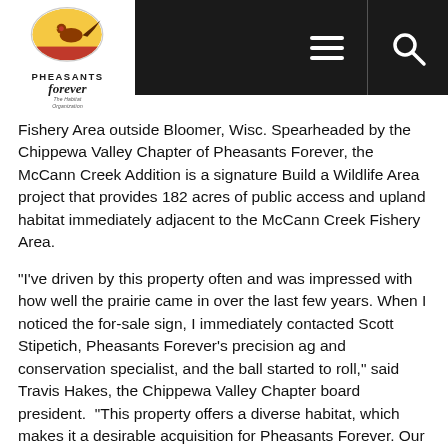[Figure (logo): Pheasants Forever logo — circular emblem with pheasant, text 'PHEASANTS forever The Habitat Organization']
Fishery Area outside Bloomer, Wisc. Spearheaded by the Chippewa Valley Chapter of Pheasants Forever, the McCann Creek Addition is a signature Build a Wildlife Area project that provides 182 acres of public access and upland habitat immediately adjacent to the McCann Creek Fishery Area.
"I've driven by this property often and was impressed with how well the prairie came in over the last few years. When I noticed the for-sale sign, I immediately contacted Scott Stipetich, Pheasants Forever's precision ag and conservation specialist, and the ball started to roll," said Travis Hakes, the Chippewa Valley Chapter board president.  "This property offers a diverse habitat, which makes it a desirable acquisition for Pheasants Forever. Our chapter is grateful for all the hard work from everyone involved, and we're excited to help manage this habitat for generations to come."
The McCann Creek Fishery Area Addition includes 80 acres of